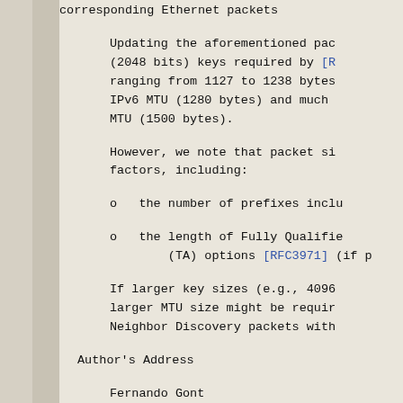corresponding Ethernet packets
Updating the aforementioned pac (2048 bits) keys required by [R ranging from 1127 to 1238 bytes IPv6 MTU (1280 bytes) and much MTU (1500 bytes).
However, we note that packet si factors, including:
o   the number of prefixes inclu
o   the length of Fully Qualifie (TA) options [RFC3971] (if p
If larger key sizes (e.g., 4096 larger MTU size might be requir Neighbor Discovery packets with
Author's Address
Fernando Gont
SI6 Networks / UTN-FRH
Evaristo Carriego 2644